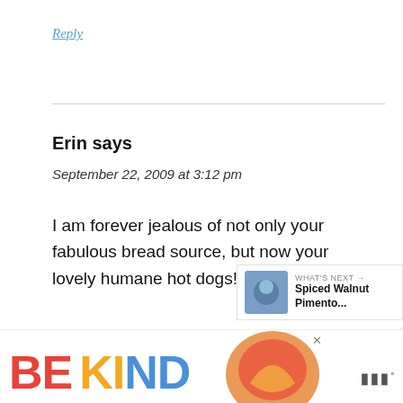Reply
Erin says
September 22, 2009 at 3:12 pm
I am forever jealous of not only your fabulous bread source, but now your lovely humane hot dogs!!
Reply
[Figure (screenshot): WHAT'S NEXT card with Spiced Walnut Pimento... thumbnail]
[Figure (infographic): BE KIND advertisement banner with colorful lettering and decorative image]